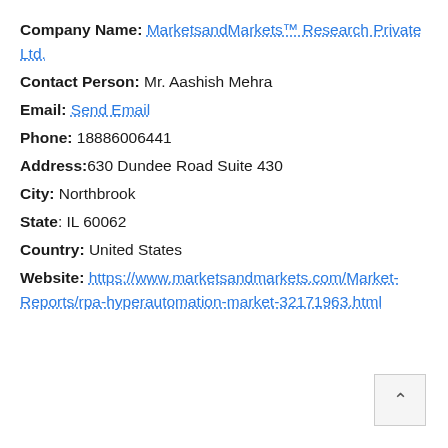Company Name: MarketsandMarkets™ Research Private Ltd.
Contact Person: Mr. Aashish Mehra
Email: Send Email
Phone: 18886006441
Address: 630 Dundee Road Suite 430
City: Northbrook
State: IL 60062
Country: United States
Website: https://www.marketsandmarkets.com/Market-Reports/rpa-hyperautomation-market-32171963.html